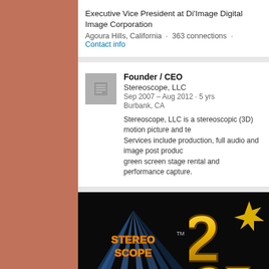Executive Vice President at Di'Image Digital Image Corporation
Agoura Hills, California · 363 connections · Contact info
Founder / CEO
Stereoscope, LLC
Sep 2007 – Aug 2012 · 5 yrs
Burbank, CA
Stereoscope, LLC is a stereoscopic (3D) motion picture and te... Services include production, full audio and image post produc... green screen stage rental and performance capture.
[Figure (photo): Stereoscope 3-D logo on black background — stylized text 'STEREOSCOPE' in blue above large '3-D' letters in yellow-orange-red gradient]
[Figure (photo): Partial view of golden 3D letters appearing to spell 'CEN' on black background]